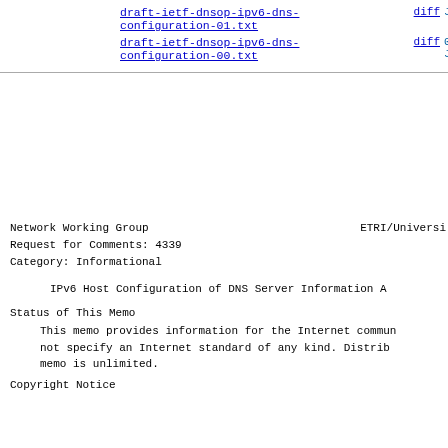draft-ietf-dnsop-ipv6-dns-configuration-01.txt   diff  Jun-2004
draft-ietf-dnsop-ipv6-dns-configuration-00.txt   diff  03-Jun-2004
Network Working Group
Request for Comments: 4339
Category: Informational

ETRI/Universi
IPv6 Host Configuration of DNS Server Information A
Status of This Memo
This memo provides information for the Internet commun not specify an Internet standard of any kind.  Distrib memo is unlimited.
Copyright Notice